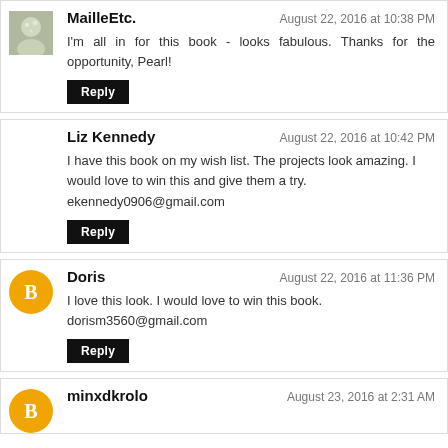MailleEtc. — August 22, 2016 at 10:38 PM — I'm all in for this book - looks fabulous. Thanks for the opportunity, Pearl!
Liz Kennedy — August 22, 2016 at 10:42 PM — I have this book on my wish list. The projects look amazing. I would love to win this and give them a try. ekennedy0906@gmail.com
Doris — August 22, 2016 at 11:36 PM — I love this look. I would love to win this book. dorism3560@gmail.com
minxdkrolo — August 23, 2016 at 2:31 AM